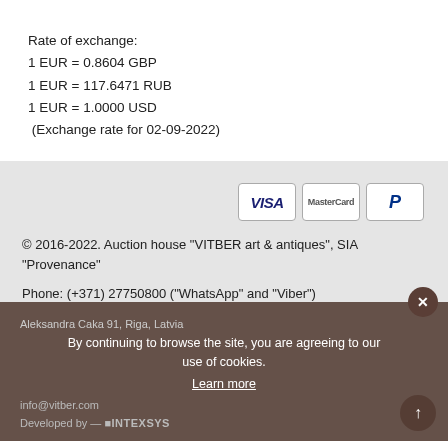Rate of exchange:
1 EUR = 0.8604 GBP
1 EUR = 117.6471 RUB
1 EUR = 1.0000 USD
(Exchange rate for 02-09-2022)
[Figure (other): Payment method icons: VISA, MasterCard, PayPal]
© 2016-2022. Auction house "VITBER art & antiques", SIA "Provenance"
Phone: (+371) 27750800 ("WhatsApp" and "Viber")
Aleksandra Caka 91, Riga, Latvia
info@vitber.com
By continuing to browse the site, you are agreeing to our use of cookies.
Learn more
Developed by — INTEXSYS